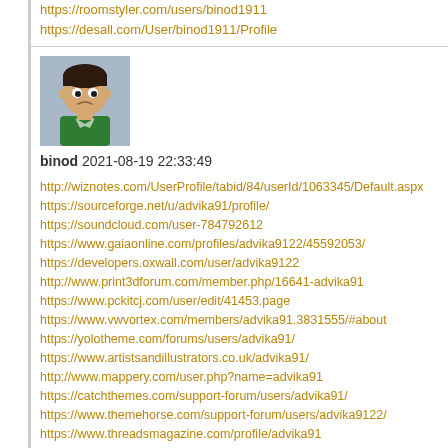https://roomstyler.com/users/binod1911
https://desall.com/User/binod1911/Profile
[Figure (illustration): Avatar image of user binod - cartoon style figure with dark hair and green shirt on grey/blue background]
binod 2021-08-19 22:33:49
http://wiznotes.com/UserProfile/tabid/84/userId/1063345/Default.aspx
https://sourceforge.net/u/advika91/profile/
https://soundcloud.com/user-784792612
https://www.gaiaonline.com/profiles/advika9122/45592053/
https://developers.oxwall.com/user/advika9122
http://www.print3dforum.com/member.php/16641-advika91
https://www.pckitcj.com/user/edit/41453.page
https://www.vwvortex.com/members/advika91.3831555/#about
https://yolotheme.com/forums/users/advika91/
https://www.artistsandillustrators.co.uk/advika91/
http://www.mappery.com/user.php?name=advika91
https://catchthemes.com/support-forum/users/advika91/
https://www.themehorse.com/support-forum/users/advika9122/
https://www.threadsmagazine.com/profile/advika91
https://works.bepress.com/advika-singh/about/
https://www.aeriagames.com/user/advika9122/
https://list.ly/advika9122/lists
https://www.crunchyroll.com/user/advika91
https://en.gravatar.com/advika91
https://www.f6s.com/advika-singh
https://tapas.io/advika9122
https://hashnode.com/@advika91